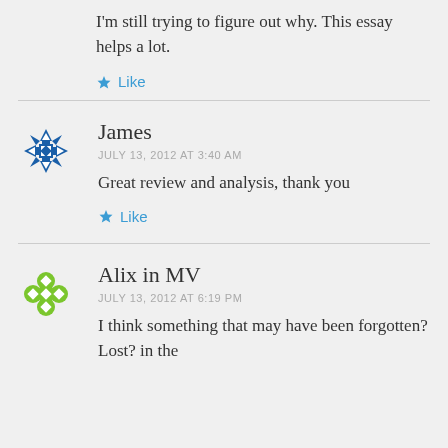I'm still trying to figure out why. This essay helps a lot.
★ Like
James
JULY 13, 2012 AT 3:40 AM
Great review and analysis, thank you
★ Like
Alix in MV
JULY 13, 2012 AT 6:19 PM
I think something that may have been forgotten? Lost? in the